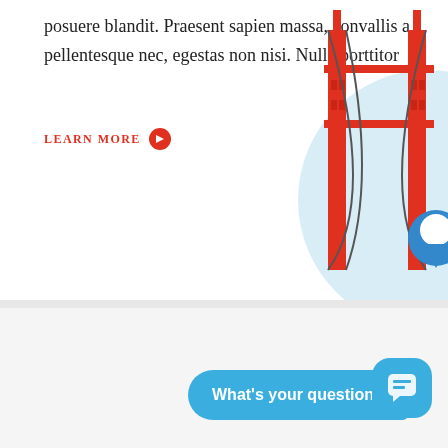posuere blandit. Praesent sapien massa, convallis a pellentesque nec, egestas non nisi. Nulla porttitor
LEARN MORE →
[Figure (illustration): Partial illustration of a red Golden Gate Bridge tower with light blue circular background and a blue location pin, cropped at right edge]
Aknowledgments
Sed porttitor lectus nibh. Curabitur arcu erat, accumsan id imperdiet et, porttitor at sem id e posuere blandit. Praesent sapien massa, convallis a
[Figure (other): Chat widget overlay: a teal/blue speech bubble saying 'What's your question?' and a blue rounded square chat icon button]